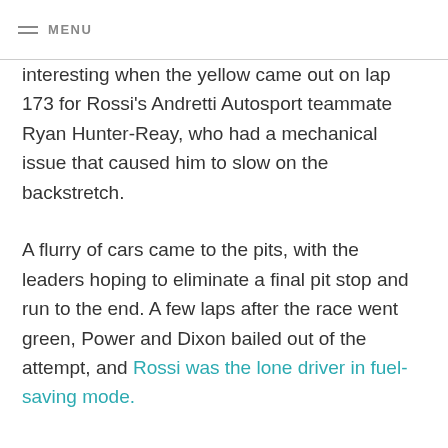MENU
interesting when the yellow came out on lap 173 for Rossi's Andretti Autosport teammate Ryan Hunter-Reay, who had a mechanical issue that caused him to slow on the backstretch.
A flurry of cars came to the pits, with the leaders hoping to eliminate a final pit stop and run to the end. A few laps after the race went green, Power and Dixon bailed out of the attempt, and Rossi was the lone driver in fuel-saving mode.
Both Power and Dixon had to make